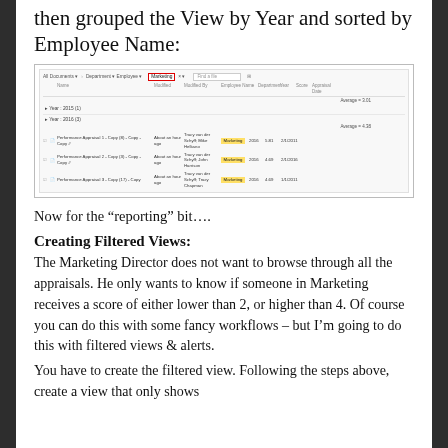then grouped the View by Year and sorted by Employee Name:
[Figure (screenshot): SharePoint list view screenshot showing performance appraisals filtered to Marketing department, grouped by Year (2015, 2016), with columns for Name, Modified, Modified By, Employee Name, Department, Year, Score, Appraisal Date. Three rows visible under Year: 2016 with Marketing highlighted in yellow, showing Performance Appraisal entries.]
Now for the “reporting” bit….
Creating Filtered Views:
The Marketing Director does not want to browse through all the appraisals. He only wants to know if someone in Marketing receives a score of either lower than 2, or higher than 4. Of course you can do this with some fancy workflows – but I’m going to do this with filtered views & alerts.
You have to create the filtered view. Following the steps above, create a view that only shows...